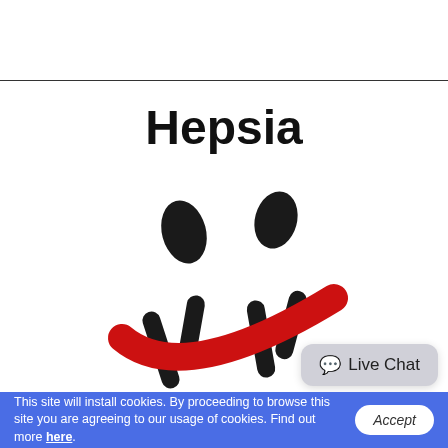Hepsia
[Figure (logo): Hepsia logo: two stick-figure people with a red swoosh/smile beneath them, rendered in black and red]
Live Chat
This site will install cookies. By proceeding to browse this site you are agreeing to our usage of cookies. Find out more here.